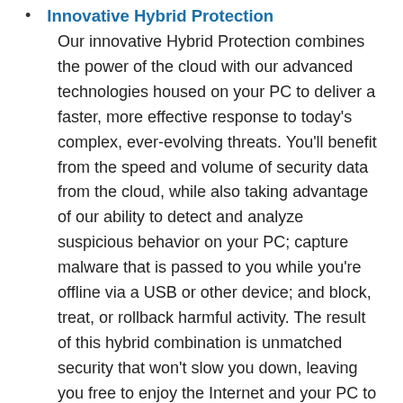Innovative Hybrid Protection
Our innovative Hybrid Protection combines the power of the cloud with our advanced technologies housed on your PC to deliver a faster, more effective response to today’s complex, ever-evolving threats. You’ll benefit from the speed and volume of security data from the cloud, while also taking advantage of our ability to detect and analyze suspicious behavior on your PC; capture malware that is passed to you while you’re offline via a USB or other device; and block, treat, or rollback harmful activity. The result of this hybrid combination is unmatched security that won’t slow you down, leaving you free to enjoy the Internet and your PC to their full potential.
Combining our Core Protection with Premium Internet Threat Defense
Kaspersky Internet Security combines all of the...